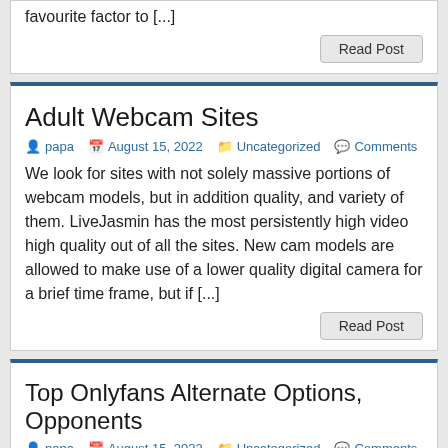favourite factor to [...]
Read Post
Adult Webcam Sites
papa  August 15, 2022  Uncategorized  Comments
We look for sites with not solely massive portions of webcam models, but in addition quality, and variety of them. LiveJasmin has the most persistently high video high quality out of all the sites. New cam models are allowed to make use of a lower quality digital camera for a brief time frame, but if [...]
Read Post
Top Onlyfans Alternate Options, Opponents
papa  August 15, 2022  Uncategorized  Comments
Here are the payment processors to obtain money immediately on your nudes. If somebody is profiting out of your nudes without your consent then you'll have the ability to take authorized action. However, if they are merely posting them on